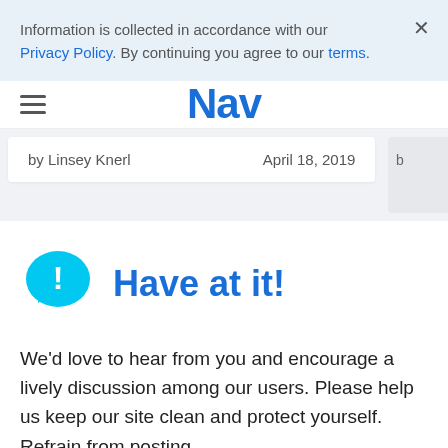Information is collected in accordance with our Privacy Policy. By continuing you agree to our terms.
Nav
by Linsey Knerl   April 18, 2019
Have at it!
We'd love to hear from you and encourage a lively discussion among our users. Please help us keep our site clean and protect yourself. Refrain from posting